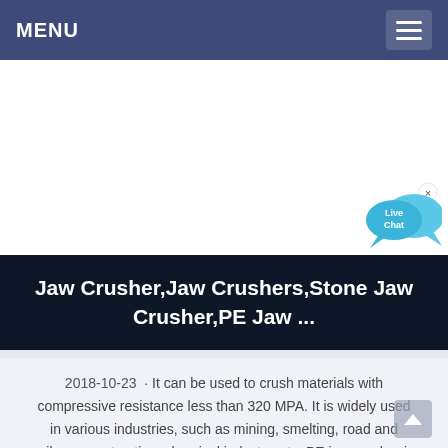MENU
[Figure (other): Live Chat button — two overlapping speech bubbles in cyan/blue with 'Live Chat' text and a close (x) button]
Jaw Crusher,Jaw Crushers,Stone Jaw Crusher,PE Jaw ...
2018-10-23 · It can be used to crush materials with compressive resistance less than 320 MPA. It is widely used in various industries, such as mining, smelting, road and railway construction, chemical industry, etc. PE jaw crusher is used for primary crushing, and PEX jaw crusher is used for…